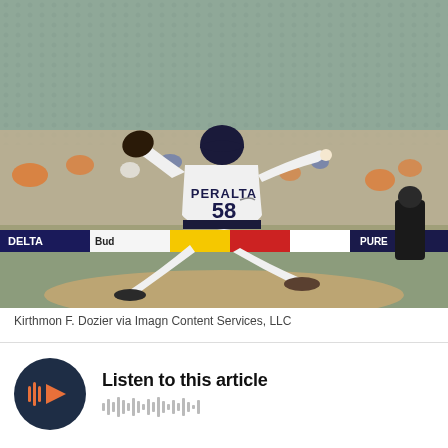[Figure (photo): Baseball pitcher wearing Detroit Tigers uniform number 58 (PERALTA) in mid-pitch delivery on the mound, viewed from behind. Stadium crowd and seats visible in background. Umpire visible at right edge.]
Kirthmon F. Dozier via Imagn Content Services, LLC
[Figure (infographic): Audio player widget with dark circular play button (orange/coral play icon with audio wave lines) and text 'Listen to this article' with waveform visualization below]